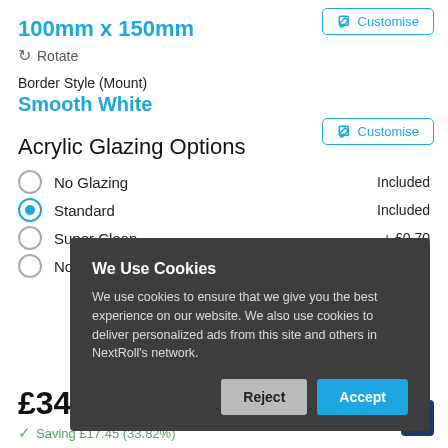100mm x 150mm
Rotate
Customise
Border Style (Mount)
Smooth White
Customise
Acrylic Glazing Options
No Glazing  Included
Standard  Included
Super Clean  + £0.70
Non Reflective (Diffused)  + £5.34
£34.14
Saving £17.45 (33.82%)
We Use Cookies
We use cookies to ensure that we give you the best experience on our website. We also use cookies to deliver personalized ads from this site and others in NextRoll's network.
Reject
Accept